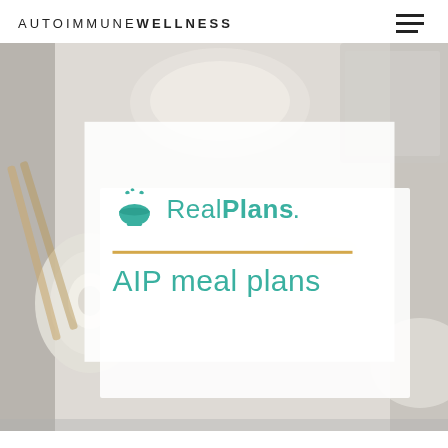AUTOIMMUNE WELLNESS
[Figure (photo): Food flat-lay photo with avocado halves, small bowl of food, wooden chopsticks, laptop keyboard, and a white bowl, with a white semi-transparent card overlay featuring the RealPlans logo and 'AIP meal plans' text in teal]